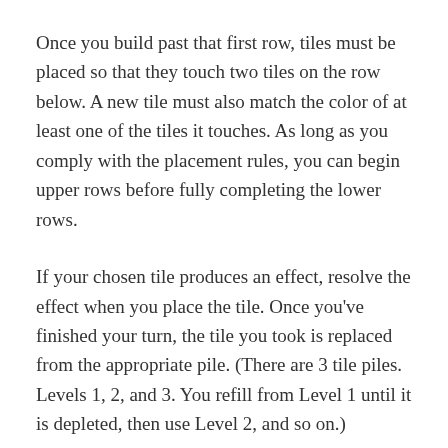Once you build past that first row, tiles must be placed so that they touch two tiles on the row below. A new tile must also match the color of at least one of the tiles it touches. As long as you comply with the placement rules, you can begin upper rows before fully completing the lower rows.
If your chosen tile produces an effect, resolve the effect when you place the tile. Once you've finished your turn, the tile you took is replaced from the appropriate pile. (There are 3 tile piles. Levels 1, 2, and 3. You refill from Level 1 until it is depleted, then use Level 2, and so on.)
The game ends when all players have created their universes consisting of 14 region tiles and one god